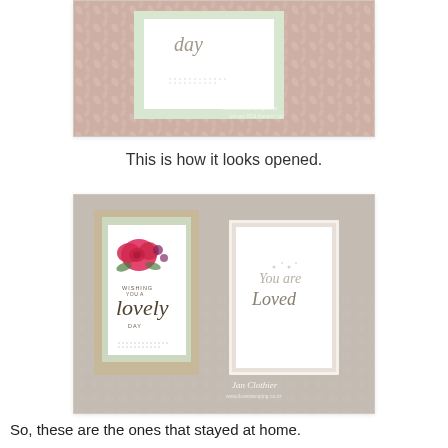[Figure (photo): Close-up photo of a handmade greeting card with a pink floral/leaf-patterned background and a light green inset panel. A watermark reads 'Jan Clothier www.ilovestamping.co.nz'.]
This is how it looks opened.
[Figure (photo): Photo of an opened handmade Z-fold or gate-fold greeting card standing open on a lace-covered surface. The front panel shows a pink rose and the text 'Wishing you a lovely day'. The inside right panel shows 'You are loved' in script. A watermark reads 'Jan Clothier'.]
So, these are the ones that stayed at home.